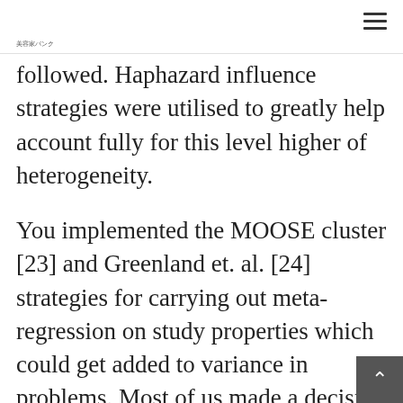美容家バンク
followed. Haphazard influence strategies were utilised to greatly help account fully for this level higher of heterogeneity.
You implemented the MOOSE cluster [23] and Greenland et. al. [24] strategies for carrying out meta-regression on study properties which could get added to variance in problems. Most of us made a decision to make use of a random-effects style to some extent as a result of the between-study difference ultimately offe